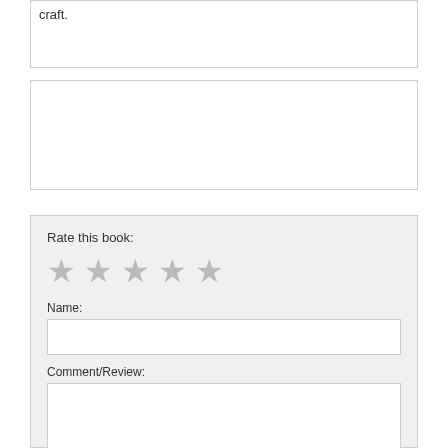craft.
Rate this book:
[Figure (other): Five grey star icons for rating]
Name:
Comment/Review: